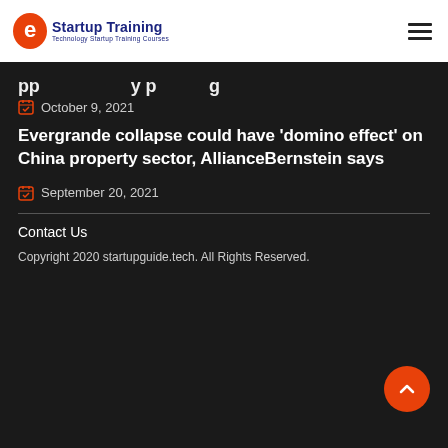Startup Training — Technology Startup Training Courses
Evergrande collapse could have 'domino effect' on China property sector, AllianceBernstein says
October 9, 2021
Evergrande collapse could have 'domino effect' on China property sector, AllianceBernstein says
September 20, 2021
Contact Us
Copyright 2020 startupguide.tech. All Rights Reserved.